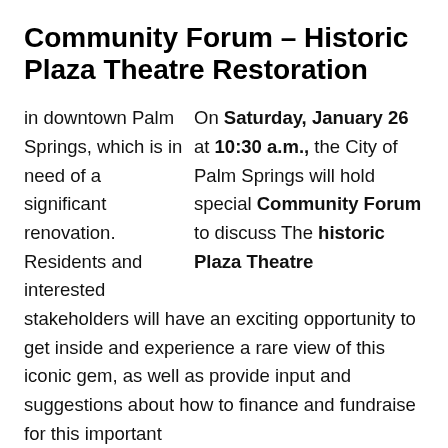Community Forum – Historic Plaza Theatre Restoration
On Saturday, January 26 at 10:30 a.m., the City of Palm Springs will hold special Community Forum to discuss The historic Plaza Theatre in downtown Palm Springs, which is in need of a significant renovation. Residents and interested stakeholders will have an exciting opportunity to get inside and experience a rare view of this iconic gem, as well as provide input and suggestions about how to finance and fundraise for this important